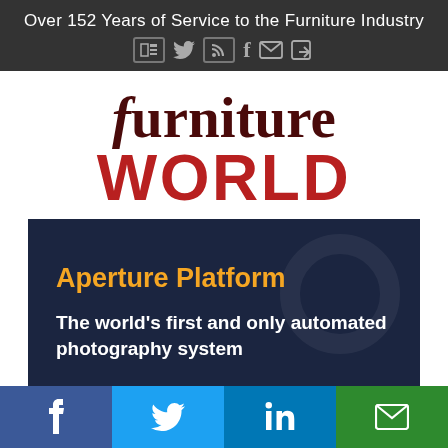Over 152 Years of Service to the Furniture Industry
[Figure (logo): Furniture World magazine logo with 'furniture' in dark red serif italic and 'WORLD' in bold red sans-serif capitals]
[Figure (infographic): Dark navy advertisement banner for Aperture Platform: 'The world's first and only automated photography system']
Social share buttons: Facebook, Twitter, LinkedIn, Email